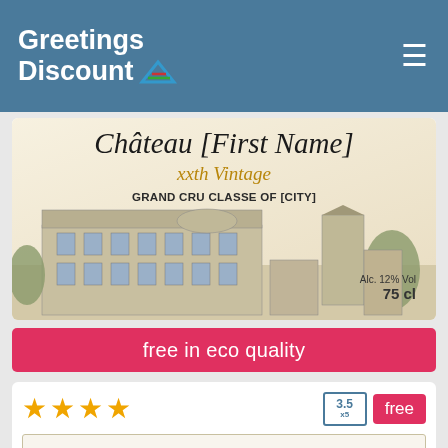Greetings Discount
[Figure (photo): Wine label image with cursive text 'Château [First Name]', 'xxth Vintage', 'GRAND CRU CLASSE OF [CITY]', illustration of a building/chateau, 'Alc. 12% Vol', '75 cl']
free in eco quality
[Figure (other): 4 orange/gold star rating icons with badge showing '3.5 x5' and 'free' label in pink]
[Figure (photo): Wine label with text 'Château [First Name]' and illustration of chateau/vineyard]